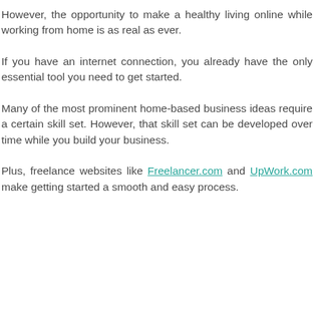However, the opportunity to make a healthy living online while working from home is as real as ever.
If you have an internet connection, you already have the only essential tool you need to get started.
Many of the most prominent home-based business ideas require a certain skill set. However, that skill set can be developed over time while you build your business.
Plus, freelance websites like Freelancer.com and UpWork.com make getting started a smooth and easy process.